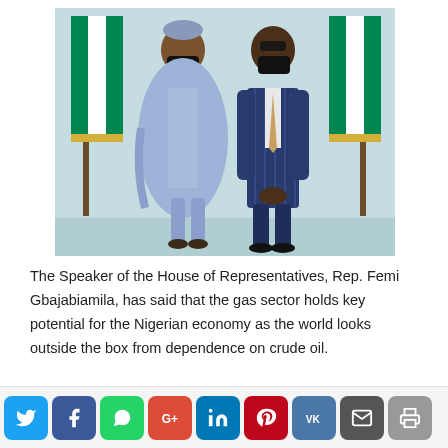[Figure (photo): Two men wearing black face masks standing in front of Nigerian flags. The man on the left is dressed in a light blue traditional Nigerian outfit (agbada). The man on the right is wearing a navy blue pinstripe suit with a patterned tie.]
The Speaker of the House of Representatives, Rep. Femi Gbajabiamila, has said that the gas sector holds key potential for the Nigerian economy as the world looks outside the box from dependence on crude oil.